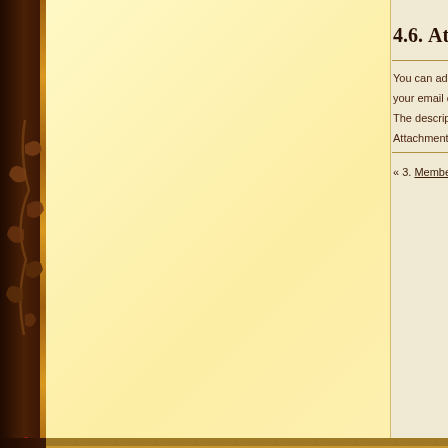[Figure (screenshot): Website screenshot showing a decorative dark brown leather-textured background with a cream/parchment content area. The right side shows partial text of section 4.6 about Attachments, with body text about adding attachments to email, description of Attachments section, and a navigation link '« 3. Member...'. The bottom shows a dark chocolate bar with a Help link containing a blue question mark icon. Below is an ornamental leather divider with quilted texture and a darker brown footer area.]
4.6. Atta
You can add
your email c
The descript
Attachments
« 3. Member
Help